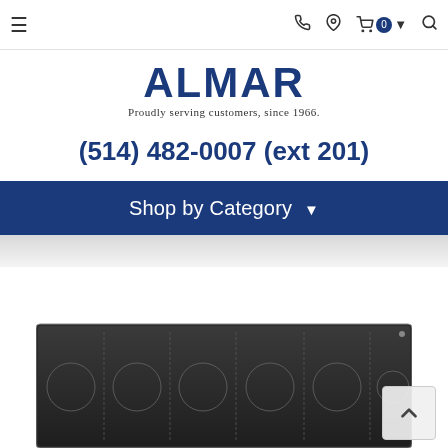≡  📞 📍 🛒 0 ▾ 🔍
[Figure (logo): ALMAR logo with tagline 'Proudly serving customers, since 1966.']
(514) 482-0007 (ext 201)
Shop by Category ▾
[Figure (photo): Induction cooktop product image, dark glass surface with multiple cooking zones visible, shown partially cropped at bottom of page.]